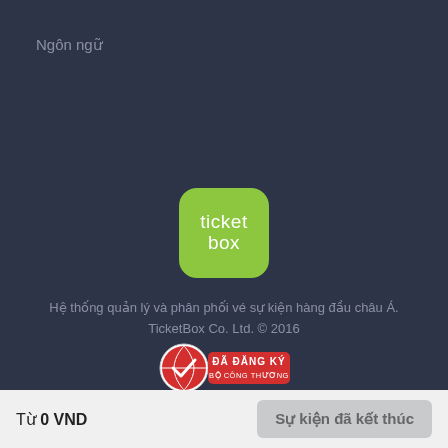Ngôn ngữ
[Figure (logo): TicketBox app logo — green rounded square with white text 'ticket box']
Hệ thống quản lý và phân phối vé sự kiện hàng đầu châu Á. TicketBox Co. Ltd. © 2016
[Figure (logo): Đã đăng ký Bộ Công Thương badge — red circle with checkmark and red label]
Từ 0 VND
Sự kiện đã kết thúc